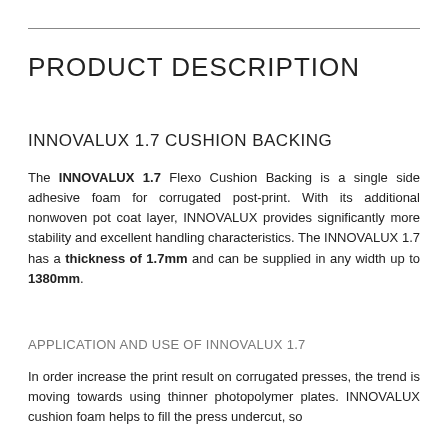PRODUCT DESCRIPTION
INNOVALUX 1.7 CUSHION BACKING
The INNOVALUX 1.7 Flexo Cushion Backing is a single side adhesive foam for corrugated post-print. With its additional nonwoven pot coat layer, INNOVALUX provides significantly more stability and excellent handling characteristics. The INNOVALUX 1.7 has a thickness of 1.7mm and can be supplied in any width up to 1380mm.
APPLICATION AND USE OF INNOVALUX 1.7
In order increase the print result on corrugated presses, the trend is moving towards using thinner photopolymer plates. INNOVALUX cushion foam helps to fill the press undercut, so